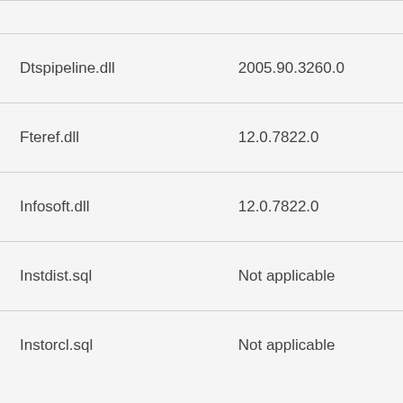| File name | Version |
| --- | --- |
| Dtspipeline.dll | 2005.90.3260.0 |
| Fteref.dll | 12.0.7822.0 |
| Infosoft.dll | 12.0.7822.0 |
| Instdist.sql | Not applicable |
| Instorcl.sql | Not applicable |